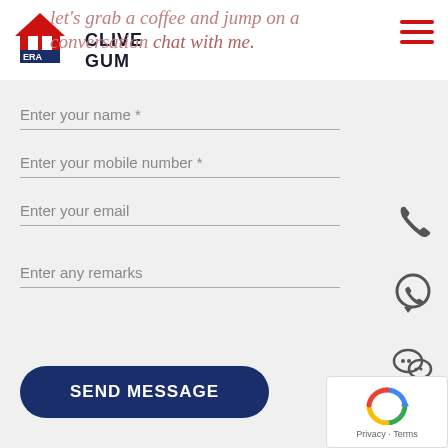ERA Real Estate — CLIVE GUM
let's grab a coffee and jump on a conversation chat with me.
Enter your name *
Enter your mobile number *
Enter your email
Enter any remarks
SEND MESSAGE
[Figure (other): Phone call icon]
[Figure (other): WhatsApp icon]
[Figure (other): WeChat icon]
[Figure (other): Google reCAPTCHA widget with Privacy and Terms links]